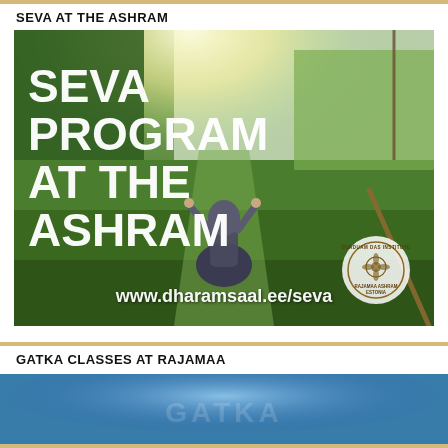SEVA AT THE ASHRAM
[Figure (photo): Promotional photo showing a person in traditional dress sitting on grass in a green meadow with arms raised, bright sunlight overhead. Large white text overlay reads 'SEVA PROGRAM AT THE ASHRAM' with URL www.dharamsaal.ee/seva and Rajamaa Ashram Estonia logo badge bottom right.]
GATKA CLASSES AT RAJAMAA
[Figure (photo): Bottom portion of a photo showing blue tones, partial view of a Gatka class at Rajamaa.]